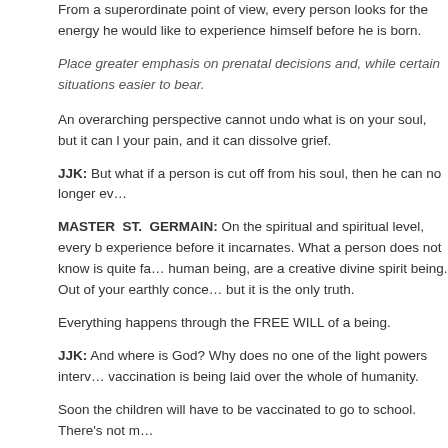From a superordinate point of view, every person looks for the energy he would like to experience himself before he is born.
Place greater emphasis on prenatal decisions and, while certain situations are easier to bear.
An overarching perspective cannot undo what is on your soul, but it can lessen your pain, and it can dissolve grief.
JJK: But what if a person is cut off from his soul, then he can no longer ev…
MASTER ST. GERMAIN: On the spiritual and spiritual level, every being chooses before it incarnates. What a person does not know is quite fa… human being, are a creative divine spirit being. Out of your earthly conce… but it is the only truth.
Everything happens through the FREE WILL of a being.
JJK: And where is God? Why does no one of the light powers interv… vaccination is being laid over the whole of humanity.
Soon the children will have to be vaccinated to go to school. There's not m…
MASTER ST. GERMAIN: It happens that the madness is carried to the ex…